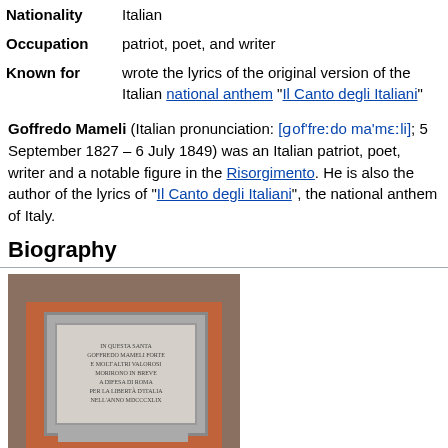| Field | Value |
| --- | --- |
| Nationality | Italian |
| Occupation | patriot, poet, and writer |
| Known for | wrote the lyrics of the original version of the Italian national anthem "Il Canto degli Italiani" |
Goffredo Mameli (Italian pronunciation: [ɡof'freːdo ma'mɛːli]; 5 September 1827 – 6 July 1849) was an Italian patriot, poet, writer and a notable figure in the Risorgimento. He is also the author of the lyrics of "Il Canto degli Italiani", the national anthem of Italy.
Biography
[Figure (photo): A photograph of an orange/terracotta wall with a stone or marble commemorative plaque mounted on it, showing an inscription about Goffredo Mameli.]